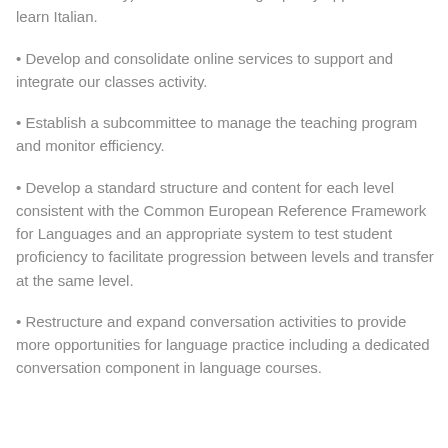senior secondary) and adults with high-quality opportunities to learn Italian.
• Develop and consolidate online services to support and integrate our classes activity.
• Establish a subcommittee to manage the teaching program and monitor efficiency.
• Develop a standard structure and content for each level consistent with the Common European Reference Framework for Languages and an appropriate system to test student proficiency to facilitate progression between levels and transfer at the same level.
• Restructure and expand conversation activities to provide more opportunities for language practice including a dedicated conversation component in language courses.